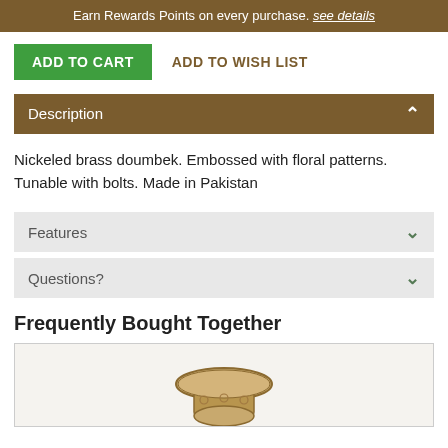Earn Rewards Points on every purchase. see details
ADD TO CART   ADD TO WISH LIST
Description
Nickeled brass doumbek. Embossed with floral patterns. Tunable with bolts. Made in Pakistan
Features
Questions?
Frequently Bought Together
[Figure (photo): Product photo of a doumbek drum, partially visible at bottom of page]